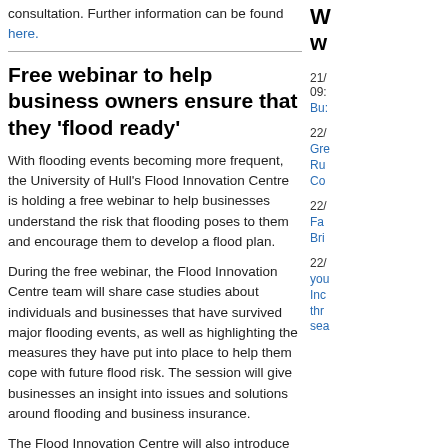consultation. Further information can be found here.
Free webinar to help business owners ensure that they 'flood ready'
With flooding events becoming more frequent, the University of Hull's Flood Innovation Centre is holding a free webinar to help businesses understand the risk that flooding poses to them and encourage them to develop a flood plan.
During the free webinar, the Flood Innovation Centre team will share case studies about individuals and businesses that have survived major flooding events, as well as highlighting the measures they have put into place to help them cope with future flood risk. The session will give businesses an insight into issues and solutions around flooding and business insurance.
The Flood Innovation Centre will also introduce its new, fully funded support service, which helps eligible businesses to understand the steps they can take to protect their premises and give themselves a fighting chance of surviving future flooding events.